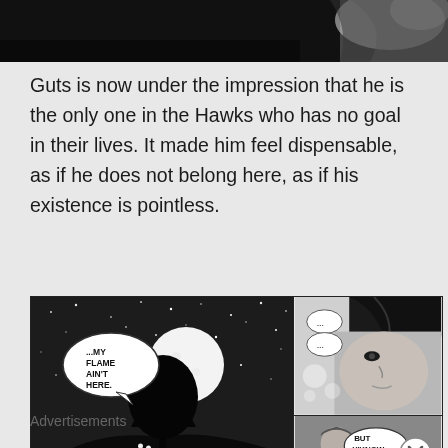[Figure (illustration): Top portion of a manga panel showing dark sky and what appears to be feathers or wing detail, cropped]
Guts is now under the impression that he is the only one in the Hawks who has no goal in their lives. It made him feel dispensable, as if he does not belong here, as if his existence is pointless.
[Figure (illustration): Manga panels from Berserk. Left panel: dark night sky with stars and full moon, tree silhouette on hill with two small figures, speech bubble reading '...MY FLAME AIN'T HERE.'. Top right panel: close-up of male character's face in profile, speech bubbles with '...' '...'. Bottom right panel: two male characters from behind, one muscular, speech bubble reading 'BUT Y'KNOW ...']
Advertisements